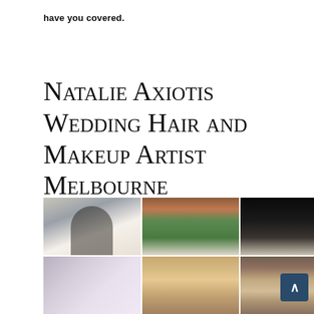have you covered.
Natalie Axiotis Wedding Hair and Makeup Artist Melbourne
[Figure (photo): Photo grid of 6 wedding photos: top-left shows a couple embracing at a classical building, top-center shows a couple at a green door, top-right shows a dark image with a bridal veil, bottom-left shows a close-up of a veil, bottom-center shows a bride's makeup close-up, bottom-right shows a bride's updo hairstyle.]